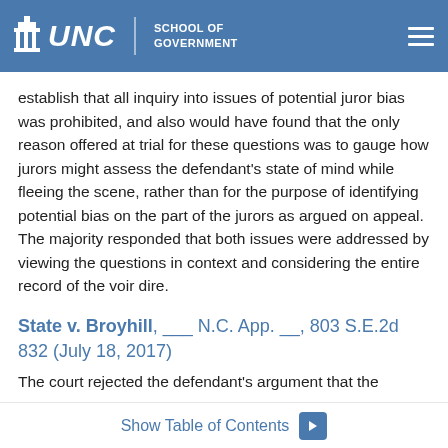UNC School of Government
establish that all inquiry into issues of potential juror bias was prohibited, and also would have found that the only reason offered at trial for these questions was to gauge how jurors might assess the defendant's state of mind while fleeing the scene, rather than for the purpose of identifying potential bias on the part of the jurors as argued on appeal. The majority responded that both issues were addressed by viewing the questions in context and considering the entire record of the voir dire.
State v. Broyhill, ___ N.C. App. __, 803 S.E.2d 832 (July 18, 2017)
The court rejected the defendant's argument that the
Show Table of Contents